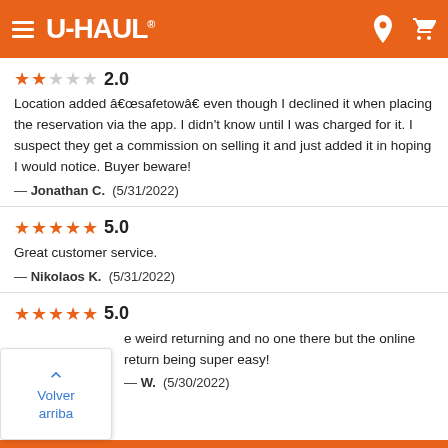U-HAUL
★★☆☆☆ 2.0
Location added â€œsafetowâ€ even though I declined it when placing the reservation via the app. I didn't know until I was charged for it. I suspect they get a commission on selling it and just added it in hoping I would notice. Buyer beware!
— Jonathan C.  (5/31/2022)
★★★★★ 5.0
Great customer service.
— Nikolaos K.  (5/31/2022)
★★★★★ 5.0
e weird returning and no one there but the online return being super easy!
W.  (5/30/2022)